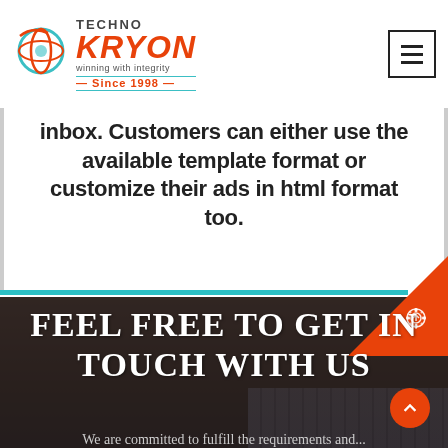[Figure (logo): Techno Kryon logo with globe icon, text 'TECHNO KRYON winning with integrity Since 1998']
inbox. Customers can either use the available template format or customize their ads in html format too.
[Figure (illustration): Red corner badge with white cloud/gear icon]
[Figure (photo): Dark background photo of keyboard used as section background]
Feel free to get in touch with us
We are committed to fulfill the requirements and...